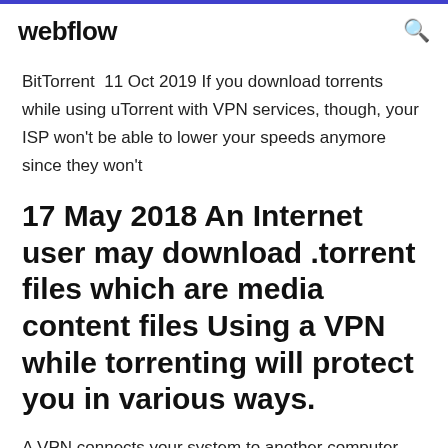webflow
BitTorrent  11 Oct 2019 If you download torrents while using uTorrent with VPN services, though, your ISP won't be able to lower your speeds anymore since they won't
17 May 2018 An Internet user may download .torrent files which are media content files Using a VPN while torrenting will protect you in various ways.
A VPN connects your system to another computer and lets you download torrents using the other computer's internet connection. VPN